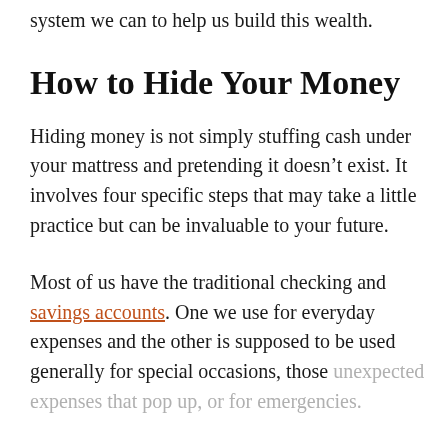system we can to help us build this wealth.
How to Hide Your Money
Hiding money is not simply stuffing cash under your mattress and pretending it doesn’t exist. It involves four specific steps that may take a little practice but can be invaluable to your future.
Most of us have the traditional checking and savings accounts. One we use for everyday expenses and the other is supposed to be used generally for special occasions, those unexpected expenses that pop up, or for emergencies.